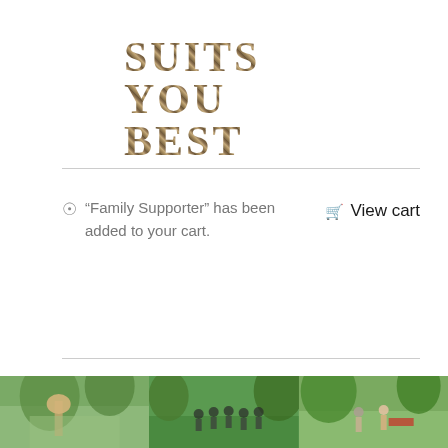SUITS YOU BEST
“Family Supporter” has been added to your cart.   View cart
Sort by Rating ↓
Show 40 Products ↓
Grid view / List view toggle
[Figure (photo): Three product/charity images at the bottom of the page showing outdoor/garden scenes]